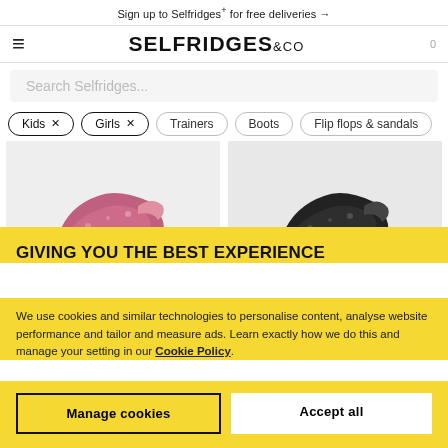Sign up to Selfridges+ for free deliveries →
[Figure (logo): Selfridges & Co logo with hamburger menu icon and cart count 0]
Search Selfridges...
Kids ×
Girls ×
Trainers
Boots
Flip flops & sandals
[Figure (photo): Two product cards showing glitter trainer shoes — a pink/rose glitter trainer on the left and a black glitter trainer on the right]
GIVING YOU THE BEST EXPERIENCE
We use cookies and similar technologies to personalise content, analyse website performance and tailor and measure ads. Learn exactly how we do this and manage your setting in our Cookie Policy.
Manage cookies
Accept all